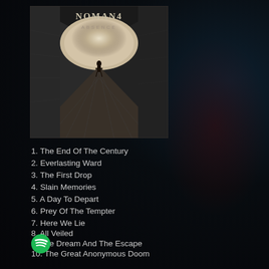[Figure (illustration): Album cover for 'Absence' by Noman4 showing a dark tunnel/corridor with a lone figure silhouetted at the end under an arch, with steps leading toward a bright light. Text 'NOMAN4' and 'ABSENCE' visible at top. Black and white/dark sepia tones.]
1. The End Of The Century
2. Everlasting Ward
3. The First Drop
4. Slain Memories
5. A Day To Depart
6. Prey Of The Tempter
7. Here We Lie
8. All Veiled
9. The Dream And The Escape
10. The Great Anonymous Doom
[Figure (logo): Spotify green circular logo]